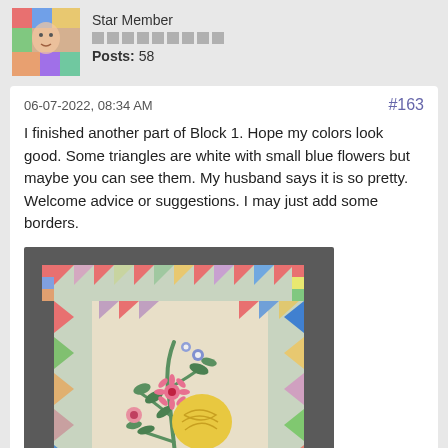Star Member
Posts: 58
06-07-2022, 08:34 AM
#163
I finished another part of Block 1. Hope my colors look good. Some triangles are white with small blue flowers but maybe you can see them. My husband says it is so pretty. Welcome advice or suggestions. I may just add some borders.
[Figure (photo): A quilt block featuring appliqued floral stems with colorful flowers and leaves on a beige background, surrounded by a border of colorful triangles and patchwork squares.]